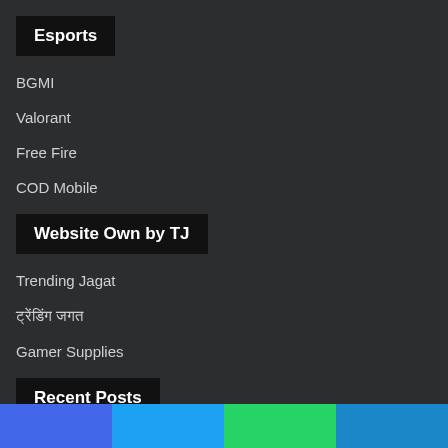Esports
BGMI
Valorant
Free Fire
COD Mobile
Website Own by TJ
Trending Jagat
ट्रेंडिंग जगत
Gamer Supplies
Recent Posts
[Figure (infographic): Social media share bar with four colored sections: Facebook blue, Twitter light blue, WhatsApp green, Telegram blue]